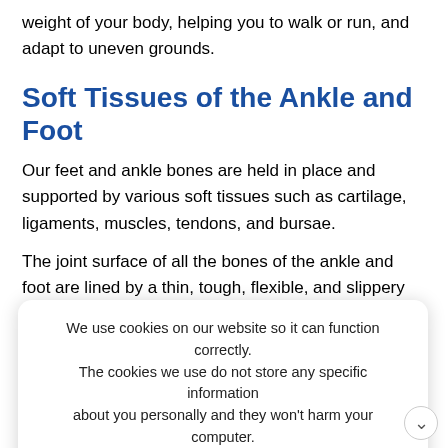weight of your body, helping you to walk or run, and adapt to uneven grounds.
Soft Tissues of the Ankle and Foot
Our feet and ankle bones are held in place and supported by various soft tissues such as cartilage, ligaments, muscles, tendons, and bursae.
The joint surface of all the bones of the ankle and foot are lined by a thin, tough, flexible, and slippery surface called the articular cartilage, which acts as a shock absorber and cushion to reduce friction between the bones. The cartilage is lubricated by synovial fluid secreted by the synovial membrane lining the bones.
Ligaments are tough rope-like tissue that connect bones to other bones, and hold them in place, providing stability to the joints.
We use cookies on our website so it can function correctly. The cookies we use do not store any specific information about you personally and they won't harm your computer. See our privacy policy for more information.
Accept